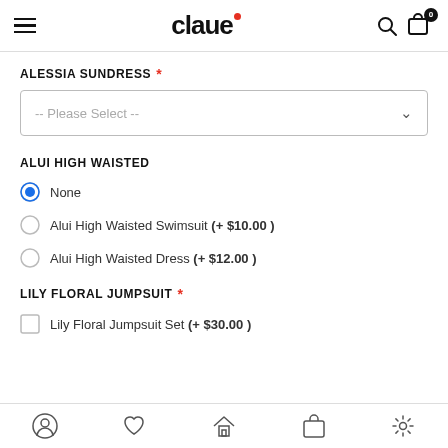claue — hamburger menu, search, cart (0)
ALESSIA SUNDRESS *
-- Please Select --
ALUI HIGH WAISTED
None (selected)
Alui High Waisted Swimsuit (+ $10.00 )
Alui High Waisted Dress (+ $12.00 )
LILY FLORAL JUMPSUIT *
Lily Floral Jumpsuit Set (+ $30.00 )
Bottom navigation: profile, wishlist, home, cart, settings